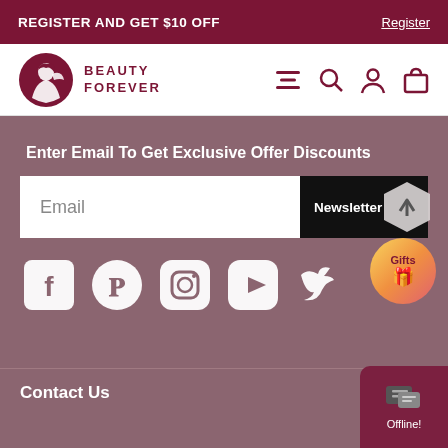REGISTER AND GET $10 OFF   Register
[Figure (logo): Beauty Forever logo with woman silhouette and text BEAUTY FOREVER]
[Figure (infographic): Navigation icons: hamburger menu, search, user account, shopping bag]
Enter Email To Get Exclusive Offer Discounts
[Figure (screenshot): Email input field with Newsletter button and hexagon icon]
[Figure (infographic): Social media icons: Facebook, Pinterest, Instagram, YouTube, Twitter; Gifts badge]
Contact Us
[Figure (infographic): Offline chat widget button]